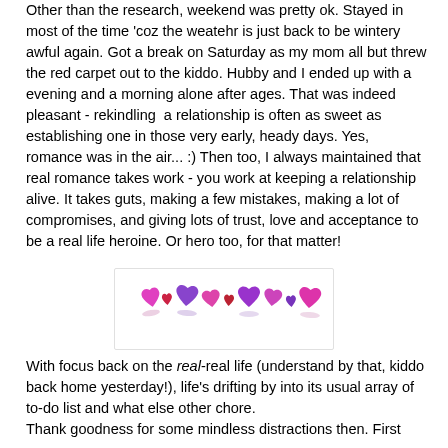Other than the research, weekend was pretty ok. Stayed in most of the time 'coz the weatehr is just back to be wintery awful again. Got a break on Saturday as my mom all but threw the red carpet out to the kiddo. Hubby and I ended up with a evening and a morning alone after ages. That was indeed pleasant - rekindling  a relationship is often as sweet as establishing one in those very early, heady days. Yes, romance was in the air... :) Then too, I always maintained that real romance takes work - you work at keeping a relationship alive. It takes guts, making a few mistakes, making a lot of compromises, and giving lots of trust, love and acceptance to be a real life heroine. Or hero too, for that matter!
[Figure (illustration): A row of colorful heart emojis in pink, purple, and red colors on a white background with a light border.]
With focus back on the real-real life (understand by that, kiddo back home yesterday!), life's drifting by into its usual array of to-do list and what else other chore.
Thank goodness for some mindless distractions then. First